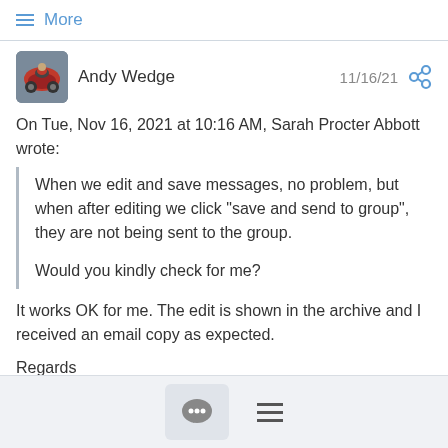≡ More
Andy Wedge   11/16/21
On Tue, Nov 16, 2021 at 10:16 AM, Sarah Procter Abbott wrote:
When we edit and save messages, no problem, but when after editing we click "save and send to group", they are not being sent to the group.

Would you kindly check for me?
It works OK for me. The edit is shown in the archive and I received an email copy as expected.
Regards
Andy